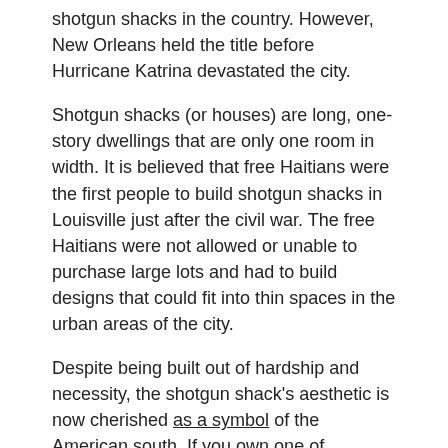shotgun shacks in the country. However, New Orleans held the title before Hurricane Katrina devastated the city.
Shotgun shacks (or houses) are long, one-story dwellings that are only one room in width. It is believed that free Haitians were the first people to build shotgun shacks in Louisville just after the civil war. The free Haitians were not allowed or unable to purchase large lots and had to build designs that could fit into thin spaces in the urban areas of the city.
Despite being built out of hardship and necessity, the shotgun shack's aesthetic is now cherished as a symbol of the American south. If you own one of Louisville's many historic homes, it might be worth looking at home warranties, flood, or fire insurance, as historical buildings can be rather expensive to repair.